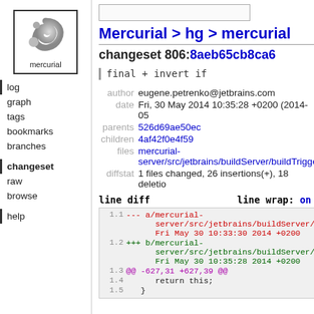[Figure (logo): Mercurial logo - gray swirl icon with text 'mercurial' below, inside a black border box]
log
graph
tags
bookmarks
branches
changeset
raw
browse
help
Mercurial > hg > mercurial
changeset 806:8aeb65cb8ca6
final + invert if
| field | value |
| --- | --- |
| author | eugene.petrenko@jetbrains.com |
| date | Fri, 30 May 2014 10:35:28 +0200 (2014-05-... |
| parents | 526d69ae50ec |
| children | 4af42f0e4f59 |
| files | mercurial-server/src/jetbrains/buildServer/buildTrigge... |
| diffstat | 1 files changed, 26 insertions(+), 18 deletio... |
line diff   line wrap: on
1.1  --- a/mercurial-server/src/jetbrains/buildServer/bu... Fri May 30 10:33:30 2014 +0200
1.2  +++ b/mercurial-server/src/jetbrains/buildServer/bu... Fri May 30 10:35:28 2014 +0200
1.3  @@ -627,31 +627,39 @@
1.4       return this;
1.5   }